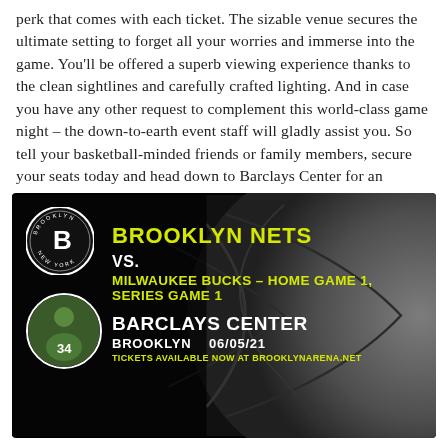perk that comes with each ticket. The sizable venue secures the ultimate setting to forget all your worries and immerse into the game. You'll be offered a superb viewing experience thanks to the clean sightlines and carefully crafted lighting. And in case you have any other request to complement this world-class game night – the down-to-earth event staff will gladly assist you. So tell your basketball-minded friends or family members, secure your seats today and head down to Barclays Center for an unforgettable Tuesday evening out!
[Figure (infographic): Brooklyn Nets vs Milwaukee Bucks promotional event image. Dark background with basketball texture. Shows Brooklyn Nets logo, player photo, team name in yellow, matchup details, venue (Barclays Center, Brooklyn, 06/05/21), and ticket website.]